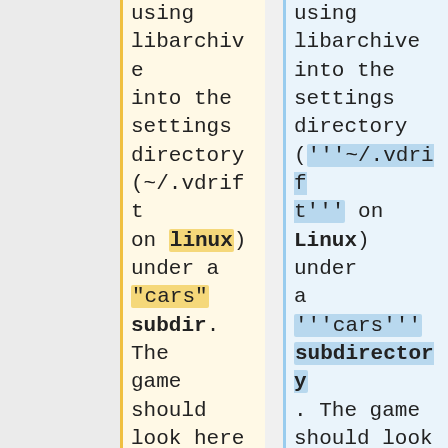using libarchive into the settings directory (~/.vdrift on linux) under a "cars" subdir. The game should look here first when loading car files, and fall back to the global data path. The downloaded file is deleted once
using libarchive into the settings directory ('''~/.vdrift''' on Linux) under a '''cars''' subdirectory. The game should look here first when loading car files, and fall back to the global data path. The downloaded file is deleted once